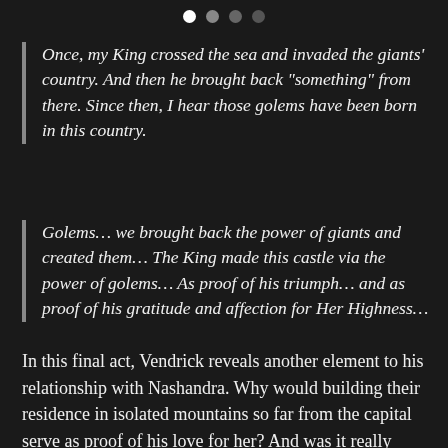[Figure (other): Four navigation dots at the top: one white, three progressively darker gray]
Once, my King crossed the sea and invaded the giants' country. And then he brought back "something" from there. Since then, I hear those golems have been born in this country.
Golems... we brought back the power of giants and created them... The King made this castle via the power of golems... As proof of his triumph... and as proof of his gratitude and affection for Her Highness...
In this final act, Vendrick reveals another element to his relationship with Nashandra. Why would building their residence in isolated mountains so far from the capital serve as proof of his love for her? And was it really coincidence